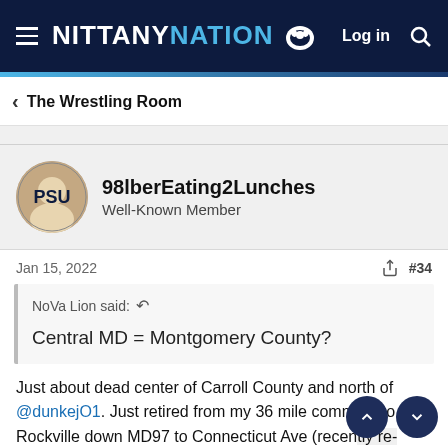NITTANY NATION — Log in
The Wrestling Room
98lberEating2Lunches
Well-Known Member
Jan 15, 2022  #34
NoVa Lion said: Central MD = Montgomery County?
Just about dead center of Carroll County and north of @dunkejO1. Just retired from my 36 mile commute to Rockville down MD97 to Connecticut Ave (recently re-branded as North Bethesda). Have friends who live in